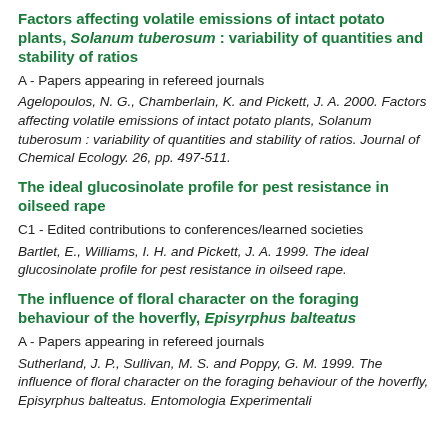Factors affecting volatile emissions of intact potato plants, Solanum tuberosum : variability of quantities and stability of ratios
A - Papers appearing in refereed journals
Agelopoulos, N. G., Chamberlain, K. and Pickett, J. A. 2000. Factors affecting volatile emissions of intact potato plants, Solanum tuberosum : variability of quantities and stability of ratios. Journal of Chemical Ecology. 26, pp. 497-511.
The ideal glucosinolate profile for pest resistance in oilseed rape
C1 - Edited contributions to conferences/learned societies
Bartlet, E., Williams, I. H. and Pickett, J. A. 1999. The ideal glucosinolate profile for pest resistance in oilseed rape.
The influence of floral character on the foraging behaviour of the hoverfly, Episyrphus balteatus
A - Papers appearing in refereed journals
Sutherland, J. P., Sullivan, M. S. and Poppy, G. M. 1999. The influence of floral character on the foraging behaviour of the hoverfly, Episyrphus balteatus. Entomologia Experimentali...